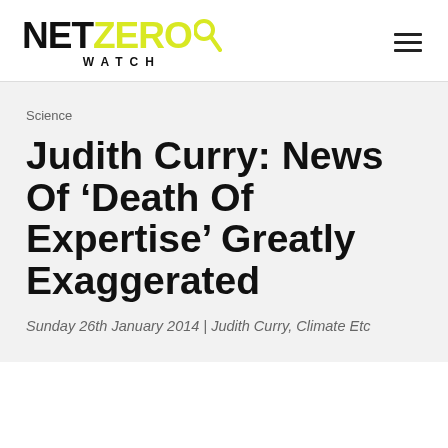[Figure (logo): Net Zero Watch logo with NET in black bold, ZERO in yellow-green bold, WATCH in spaced caps below, and a magnifying glass icon]
Science
Judith Curry: News Of ‘Death Of Expertise’ Greatly Exaggerated
Sunday 26th January 2014 | Judith Curry, Climate Etc